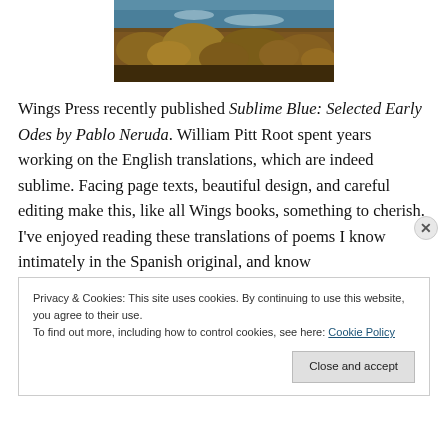[Figure (photo): Coastal landscape with brown/orange shrubs in the foreground and water/waves visible in the upper background]
Wings Press recently published Sublime Blue: Selected Early Odes by Pablo Neruda. William Pitt Root spent years working on the English translations, which are indeed sublime. Facing page texts, beautiful design, and careful editing make this, like all Wings books, something to cherish. I've enjoyed reading these translations of poems I know intimately in the Spanish original, and know
Privacy & Cookies: This site uses cookies. By continuing to use this website, you agree to their use.
To find out more, including how to control cookies, see here: Cookie Policy
Close and accept